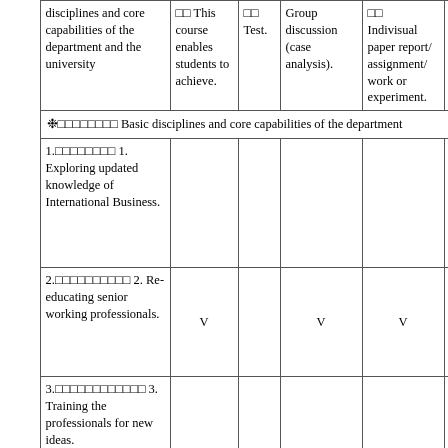|  | disciplines and core capabilities of the department and the university | This course enables students to achieve. | Test. | Group discussion (case analysis). | Individual paper report/assignment/work or experiment. | Group paper report/assignment/work or experiment. |
| --- | --- | --- | --- | --- | --- | --- |
| note | Basic disciplines and core capabilities of the department |  |  |  |  |  |
| 1. Exploring updated knowledge of International Business. |  |  |  |  |  |
| 2. Re-educating senior working professionals. | V |  | V | V |  |
| 3. Training the professionals for new ideas. |  |  |  |  |  |
| 4. Creating a network for crossover |  |  |  |  |  |